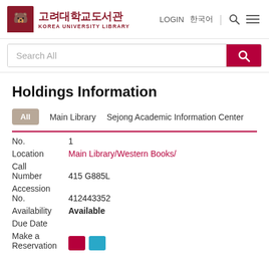[Figure (logo): Korea University Library logo with Korean text 고려대학교도서관 and subtitle KOREA UNIVERSITY LIBRARY, red bear mascot icon]
LOGIN  한국어  🔍  ☰
Search All
Holdings Information
All   Main Library   Sejong Academic Information Center
| No. | 1 |
| Location | Main Library/Western Books/ |
| Call Number | 415 G885L |
| Accession No. | 412443352 |
| Availability | Available |
| Due Date |  |
| Make a Reservation |  |